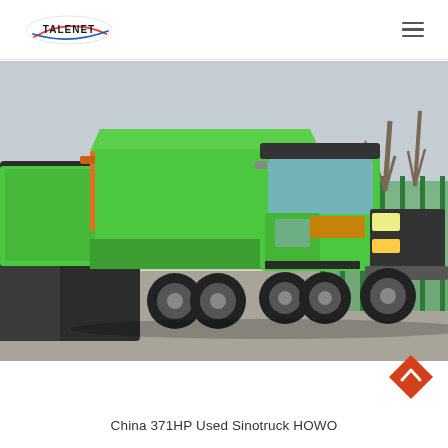TALENET
[Figure (photo): Green Sinotruck HOWO dump truck parked in a yard with other heavy trucks and a green fence in the background, bare trees visible, overcast sky.]
China 371HP Used Sinotruck HOWO